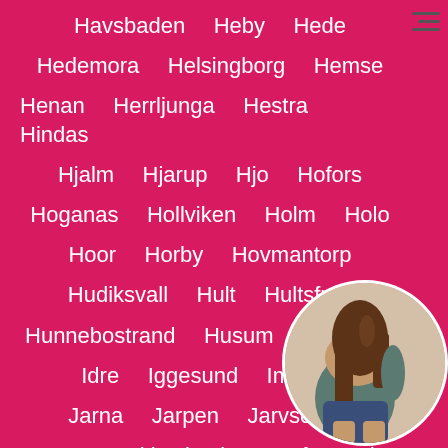Havsbaden  Heby  Hede
Hedemora  Helsingborg  Hemse
Henan  Herrljunga  Hestra  Hindas
Hjalm  Hjarup  Hjo  Hofors
Hoganas  Hollviken  Holm  Holo
Hoor  Horby  Hovmantorp
Hudiksvall  Hult  Hultsfred
Hunnebostrand  Husum  Hyltebruk
Idre  Iggesund  Immeln
Jarna  Jarpen  Jarvso  J...
Jorn  Jukkasjarvi  Jungfrusund